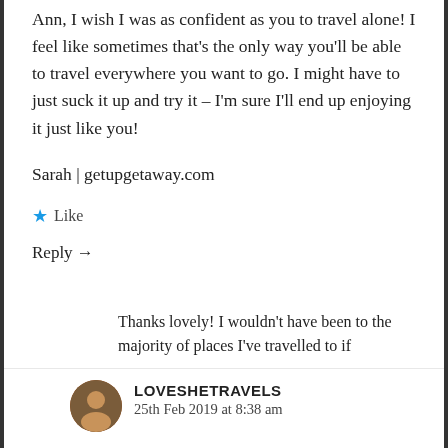Ann, I wish I was as confident as you to travel alone! I feel like sometimes that's the only way you'll be able to travel everywhere you want to go. I might have to just suck it up and try it – I'm sure I'll end up enjoying it just like you!
Sarah | getupgetaway.com
★ Like
Reply →
LOVESHETRAVELS
25th Feb 2019 at 8:38 am
Thanks lovely! I wouldn't have been to the majority of places I've travelled to if